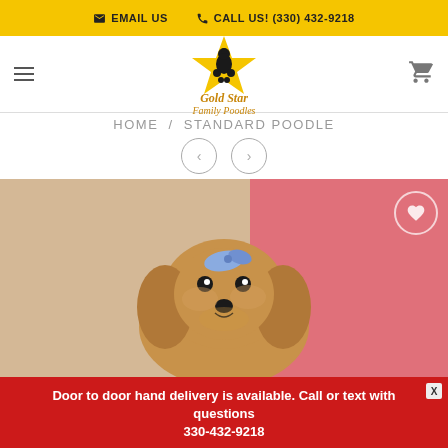EMAIL US   CALL US! (330) 432-9218
[Figure (logo): Gold Star Family Poodles logo with yellow star and black poodle silhouette]
HOME / STANDARD POODLE
[Figure (photo): A golden-colored standard poodle puppy with a blue bow on its head, sitting against a pink fabric background]
Door to door hand delivery is available. Call or text with questions 330-432-9218
See Details